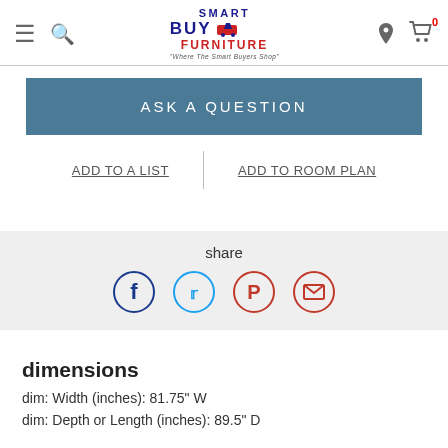Smart Buy Furniture - Where The Smart Buyers Shop - Navigation header with menu, search, location, and cart icons
ASK A QUESTION
ADD TO A LIST
ADD TO ROOM PLAN
share
[Figure (infographic): Social share icons: Facebook (dark blue circle), Twitter (light blue circle), Pinterest (dark red circle), Email (dark red circle)]
dimensions
dim: Width (inches): 81.75" W
dim: Depth or Length (inches): 89.5" D